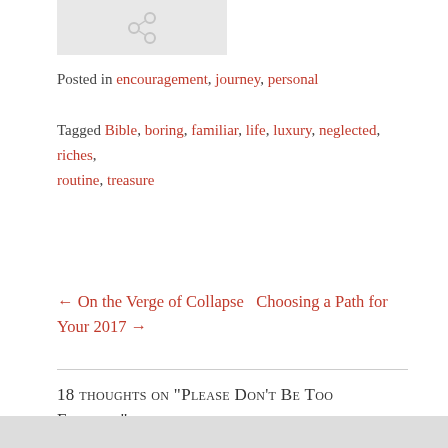[Figure (photo): Small thumbnail image placeholder with a share/link icon, light gray background]
Posted in encouragement, journey, personal
Tagged Bible, boring, familiar, life, luxury, neglected, riches, routine, treasure
← On the Verge of Collapse   Choosing a Path for Your 2017 →
18 thoughts on "Please Don't Be Too Familiar"